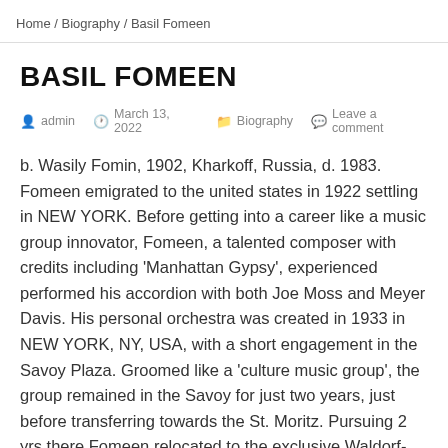Home / Biography / Basil Fomeen
BASIL FOMEEN
admin   March 13, 2022   Biography   Leave a comment
b. Wasily Fomin, 1902, Kharkoff, Russia, d. 1983. Fomeen emigrated to the united states in 1922 settling in NEW YORK. Before getting into a career like a music group innovator, Fomeen, a talented composer with credits including 'Manhattan Gypsy', experienced performed his accordion with both Joe Moss and Meyer Davis. His personal orchestra was created in 1933 in NEW YORK, NY, USA, with a short engagement in the Savoy Plaza. Groomed like a 'culture music group', the group remained in the Savoy for just two years, just before transferring towards the St. Moritz. Pursuing 2 yrs there Fomeen relocated to the exclusive Waldorf-Astoria for the